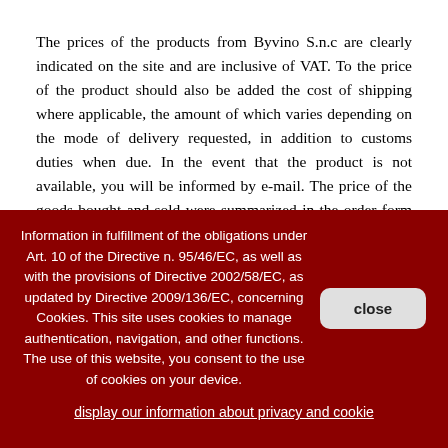The prices of the products from Byvino S.n.c are clearly indicated on the site and are inclusive of VAT. To the price of the product should also be added the cost of shipping where applicable, the amount of which varies depending on the mode of delivery requested, in addition to customs duties when due. In the event that the product is not available, you will be informed by e-mail. The price of the goods bought and sold were summarized in the order form when the customer accepts these conditions by electronic selection and sends, also by electronic means (on-line, by e-mail or fax) the order form to Byvino S.n.c. The customer is obliged to accept these terms and conditions for orders placed by telephone, in which case, the customer will be sent written confirmation of the order by e-mail, fax or SMS, as indicated by preference.
Information in fulfillment of the obligations under Art. 10 of the Directive n. 95/46/EC, as well as with the provisions of Directive 2002/58/EC, as updated by Directive 2009/136/EC, concerning Cookies. This site uses cookies to manage authentication, navigation, and other functions. The use of this website, you consent to the use of cookies on your device.
display our information about privacy and cookie